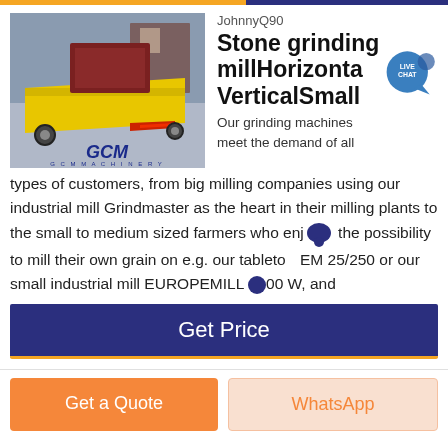[Figure (photo): Industrial stone grinding mill machine (yellow and red) by GCM Machinery, photographed outdoors]
JohnnyQ90
Stone grinding millHorizontal or VerticalSmall
Our grinding machines meet the demand of all types of customers, from big milling companies using our industrial mill Grindmaster as the heart in their milling plants to the small to medium sized farmers who enjoy the possibility to mill their own grain on e.g. our tabletop EM 25/250 or our small industrial mill EUROPEMILL 300 W, and
Get Price
Get a Quote
WhatsApp